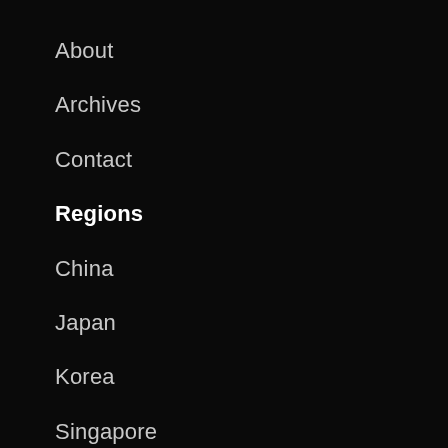About
Archives
Contact
Regions
China
Japan
Korea
Singapore
Thailand
Cambodia